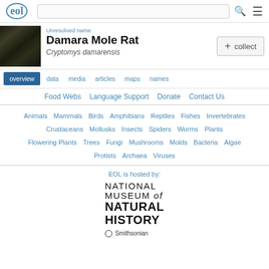EOL | Encyclopedia of Life — header navigation with search bar and menu
Unresolved name
Damara Mole Rat
Cryptomys damarensis
+ collect
overview  data  media  articles  maps  names
Food Webs  Language Support  Donate  Contact Us
Animals  Mammals  Birds  Amphibians  Reptiles  Fishes  Invertebrates  Crustaceans  Mollusks  Insects  Spiders  Worms  Plants  Flowering Plants  Trees  Fungi  Mushrooms  Molds  Bacteria  Algae  Protists  Archaea  Viruses
EOL is hosted by:
[Figure (logo): National Museum of Natural History Smithsonian logo]
[Figure (photo): Photo of Damara Mole Rat (Cryptomys damarensis), dark brown animal on green background]